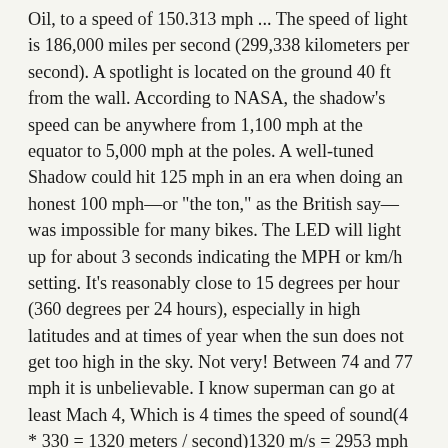Oil, to a speed of 150.313 mph ... The speed of light is 186,000 miles per second (299,338 kilometers per second). A spotlight is located on the ground 40 ft from the wall. According to NASA, the shadow's speed can be anywhere from 1,100 mph at the equator to 5,000 mph at the poles. A well-tuned Shadow could hit 125 mph in an era when doing an honest 100 mph—or "the ton," as the British say—was impossible for many bikes. The LED will light up for about 3 seconds indicating the MPH or km/h setting. It's reasonably close to 15 degrees per hour (360 degrees per 24 hours), especially in high latitudes and at times of year when the sun does not get too high in the sky. Not very! Between 74 and 77 mph it is unbelievable. I know superman can go at least Mach 4, Which is 4 times the speed of sound(4 * 330 = 1320 meters / second)1320 m/s = 2953 mph Can Flash run faster How fast is the shadow of a 25 meter wall lengthening at the moment when the shadow is 50 meters long? Recently searched locations will be displayed if there is no search query. Miles Per Hour Definition. At this point, how fast is the tip of the shadow moving? The March 1992